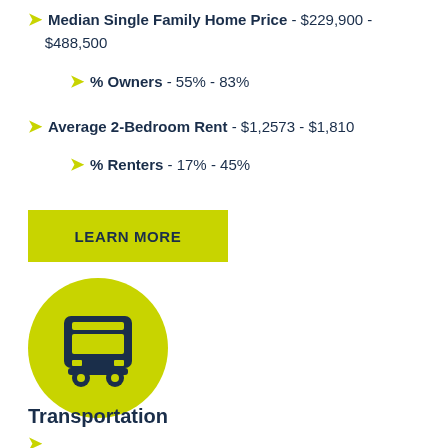Median Single Family Home Price - $229,900 - $488,500
% Owners - 55% - 83%
Average 2-Bedroom Rent - $1,2573 - $1,810
% Renters - 17% - 45%
[Figure (illustration): Yellow-green circular icon with a dark navy bus silhouette in the center]
Transportation
...